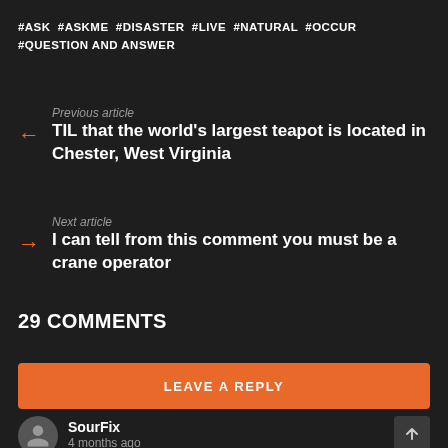#ASK #ASKME #DISASTER #LIVE #NATURAL #OCCUR #QUESTION AND ANSWER
Previous article
TIL that the world's largest teapot is located in Chester, West Virginia
Next article
I can tell from this comment you must be a crane operator
29 COMMENTS
LEAVE A REPLY
SourFix
4 months ago